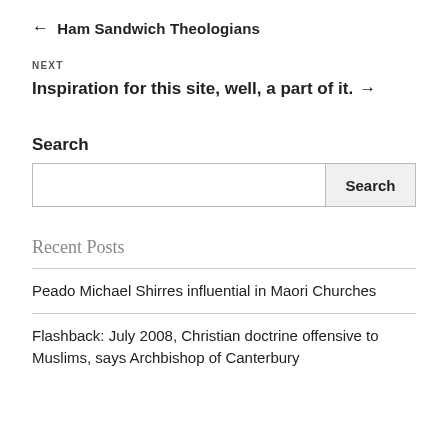← Ham Sandwich Theologians
NEXT
Inspiration for this site, well, a part of it. →
Search
Recent Posts
Peado Michael Shirres influential in Maori Churches
Flashback: July 2008, Christian doctrine offensive to Muslims, says Archbishop of Canterbury